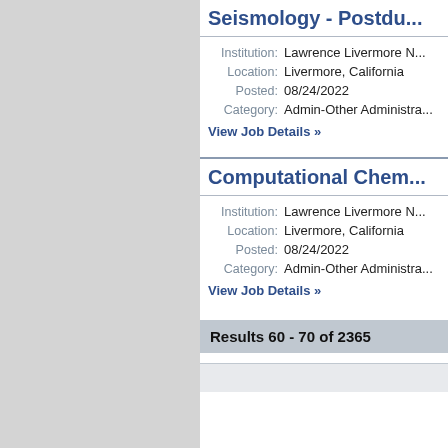Seismology - Postdo...
Institution: Lawrence Livermore N...
Location: Livermore, California
Posted: 08/24/2022
Category: Admin-Other Administra...
View Job Details »
Computational Chem...
Institution: Lawrence Livermore N...
Location: Livermore, California
Posted: 08/24/2022
Category: Admin-Other Administra...
View Job Details »
Results 60 - 70 of 2365